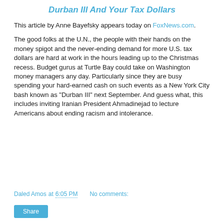Durban III And Your Tax Dollars
This article by Anne Bayefsky appears today on FoxNews.com.
The good folks at the U.N., the people with their hands on the money spigot and the never-ending demand for more U.S. tax dollars are hard at work in the hours leading up to the Christmas recess. Budget gurus at Turtle Bay could take on Washington money managers any day. Particularly since they are busy spending your hard-earned cash on such events as a New York City bash known as "Durban III" next September. And guess what, this includes inviting Iranian President Ahmadinejad to lecture Americans about ending racism and intolerance.
Daled Amos at 6:05 PM   No comments: